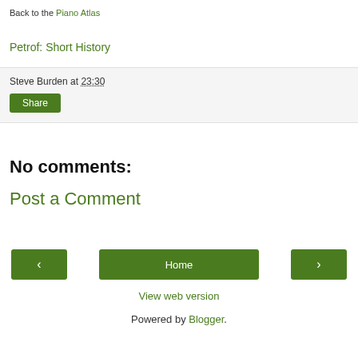Back to the Piano Atlas
Petrof: Short History
Steve Burden at 23:30
Share
No comments:
Post a Comment
< Home >
View web version
Powered by Blogger.